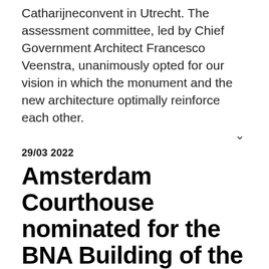Catharijneconvent in Utrecht. The assessment committee, led by Chief Government Architect Francesco Veenstra, unanimously opted for our vision in which the monument and the new architecture optimally reinforce each other.
29/03 2022
Amsterdam Courthouse nominated for the BNA Building of the Year
Out of 82 entries, the jury selected ten candidates to compete for BNA's Best Building of the Year 2022 award. Our Amsterdam Courthouse is nominated in the 'Identity and